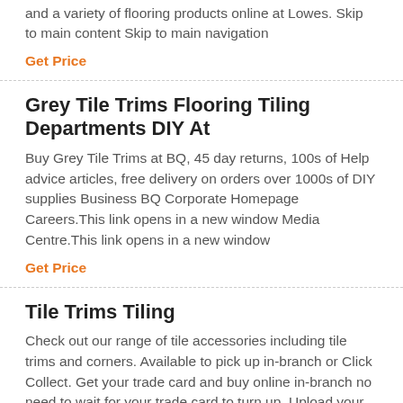and a variety of flooring products online at Lowes. Skip to main content Skip to main navigation
Get Price
Grey Tile Trims Flooring Tiling Departments DIY At
Buy Grey Tile Trims at BQ, 45 day returns, 100s of Help advice articles, free delivery on orders over 1000s of DIY supplies Business BQ Corporate Homepage Careers.This link opens in a new window Media Centre.This link opens in a new window
Get Price
Tile Trims Tiling
Check out our range of tile accessories including tile trims and corners. Available to pick up in-branch or Click Collect. Get your trade card and buy online in-branch no need to wait for your trade card to turn up. Upload your proof of